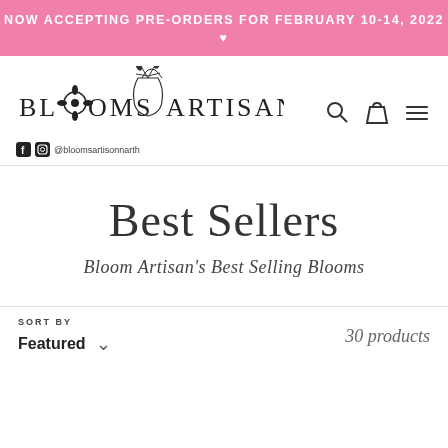NOW ACCEPTING PRE-ORDERS FOR FEBRUARY 10-14, 2022 ♥
[Figure (logo): Blooms Artisan logo with vase and botanical illustration, social media handle @bloomsartisonnarth]
Best Sellers
Bloom Artisan's Best Selling Blooms
SORT BY Featured 30 products